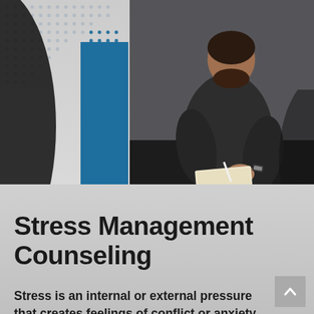[Figure (photo): A bearded man dressed in dark clothing sits on a dark couch, writing in a notebook. He is wearing a watch. The image has a dark, professional tone suggesting a counseling or therapy context.]
Stress Management Counseling
Stress is an internal or external pressure that creates feelings of conflict or anxiety within an